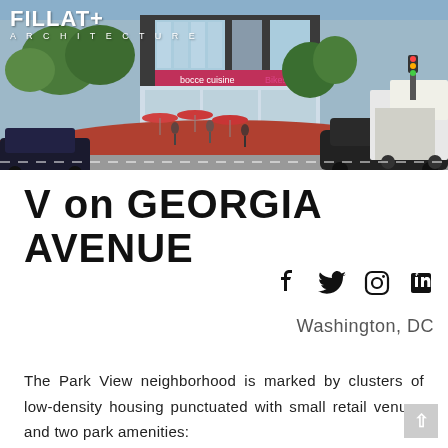[Figure (illustration): Architectural rendering of V on Georgia Avenue street-level retail and mixed-use building with pedestrians, red pavement, outdoor seating, and city street with vehicles. FILLAT+ ARCHITECTURE logo overlaid top-left.]
V on GEORGIA AVENUE
f  🐦  📷  in
Washington, DC
The Park View neighborhood is marked by clusters of low-density housing punctuated with small retail venues and two park amenities: